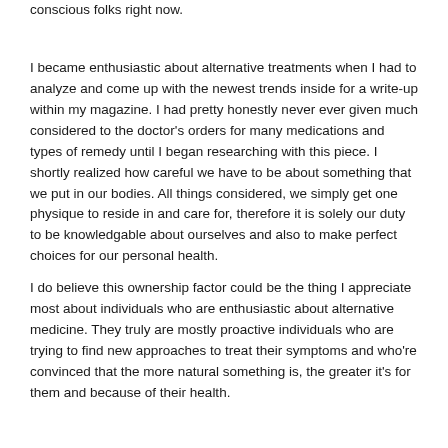conscious folks right now.
I became enthusiastic about alternative treatments when I had to analyze and come up with the newest trends inside for a write-up within my magazine. I had pretty honestly never ever given much considered to the doctor's orders for many medications and types of remedy until I began researching with this piece. I shortly realized how careful we have to be about something that we put in our bodies. All things considered, we simply get one physique to reside in and care for, therefore it is solely our duty to be knowledgable about ourselves and also to make perfect choices for our personal health.
I do believe this ownership factor could be the thing I appreciate most about individuals who are enthusiastic about alternative medicine. They truly are mostly proactive individuals who are trying to find new approaches to treat their symptoms and who're convinced that the more natural something is, the greater it's for them and because of their health.